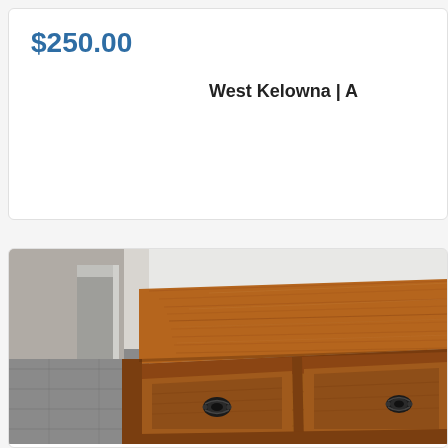$250.00
West Kelowna | A
[Figure (photo): Close-up photo of a wooden dresser/nightstand with oak wood grain top surface and a drawer with black metal ornate pull handle, set on grey laminate flooring against a white wall.]